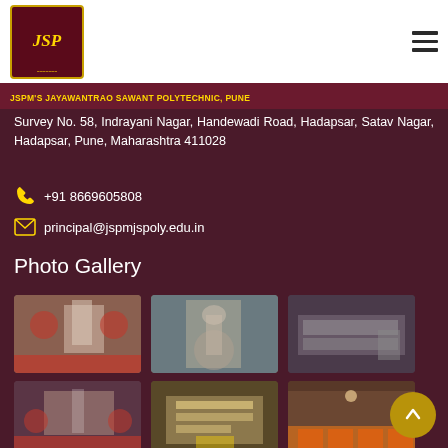[Figure (logo): JSP college logo with golden text on dark red background]
JSPM'S JAYAWANTRAO SAWANT POLYTECHNIC, PUNE
Survey No. 58, Indrayani Nagar, Handewadi Road, Hadapsar, Satav Nagar, Hadapsar, Pune, Maharashtra 411028
+91 8669605808
principal@jspmjspoly.edu.in
Photo Gallery
[Figure (photo): Event photo - person at podium with decorations]
[Figure (photo): Person lighting ceremonial lamp]
[Figure (photo): Interior room with display boards]
[Figure (photo): Stage with presenter and audience]
[Figure (photo): Notice board or sign display]
[Figure (photo): Auditorium with orange seats]
[Figure (photo): Room interior partial view]
[Figure (photo): Hall or lobby interior]
[Figure (photo): Speaker at event with audience]